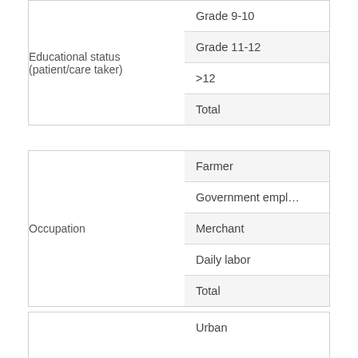| Variable | Category |
| --- | --- |
| Educational status (patient/care taker) | Grade 9-10 |
|  | Grade 11-12 |
|  | >12 |
|  | Total |
| Occupation | Farmer |
|  | Government empl... |
|  | Merchant |
|  | Daily labor |
|  | Total |
|  | Urban |